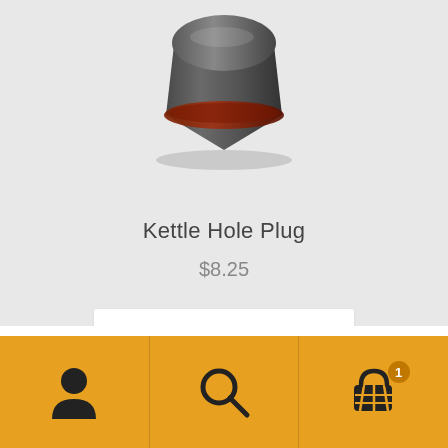[Figure (photo): Product photo of a Kettle Hole Plug — a dark gray cylindrical plug with a red/brown rubber seal ring visible, viewed from above at an angle, shown partially cropped at top of page.]
Kettle Hole Plug
$8.25
Add to cart